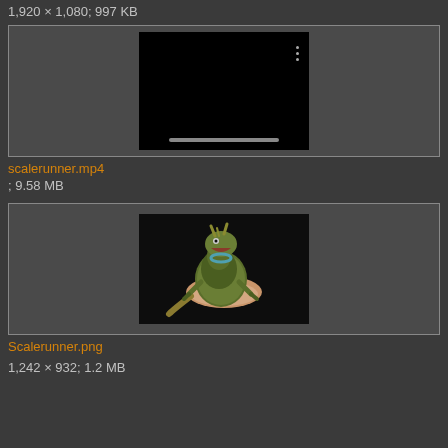1,920 × 1,080; 997 KB
[Figure (screenshot): Video player thumbnail showing a black screen with three dots and a progress bar]
scalerunner.mp4
; 9.58 MB
[Figure (photo): Image of a dragon/lizard fantasy creature figurine on a pink base against a dark background]
Scalerunner.png
1,242 × 932; 1.2 MB